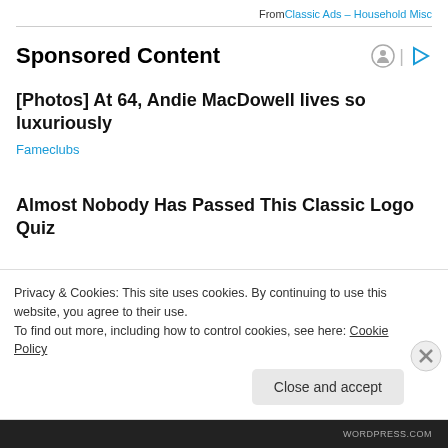From Classic Ads – Household Misc
Sponsored Content
[Photos] At 64, Andie MacDowell lives so luxuriously
Fameclubs
Almost Nobody Has Passed This Classic Logo Quiz
Privacy & Cookies: This site uses cookies. By continuing to use this website, you agree to their use.
To find out more, including how to control cookies, see here: Cookie Policy
Close and accept